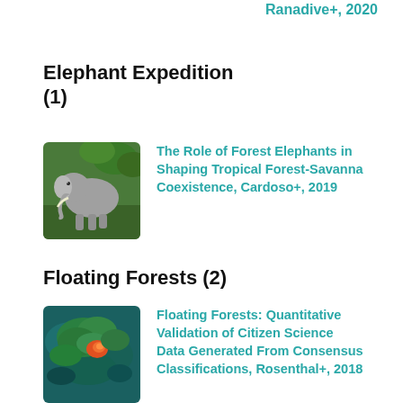Ranadive+, 2020
Elephant Expedition (1)
[Figure (photo): Photograph of an elephant standing in green grass/forest setting]
The Role of Forest Elephants in Shaping Tropical Forest-Savanna Coexistence, Cardoso+, 2019
Floating Forests (2)
[Figure (photo): Satellite or aerial photograph showing green and orange patterns on dark teal/ocean background, likely kelp forest imagery]
Floating Forests: Quantitative Validation of Citizen Science Data Generated From Consensus Classifications, Rosenthal+, 2018